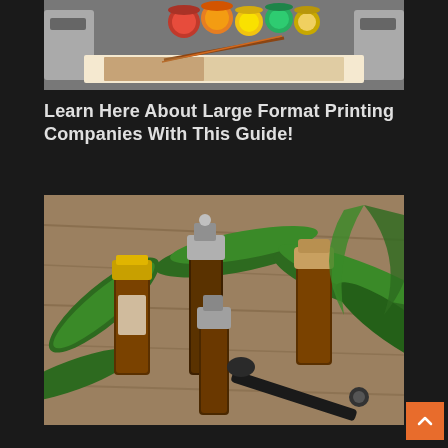[Figure (photo): Large format printer with colorful paint tins and a feather/brush on printed artwork]
Learn Here About Large Format Printing Companies With This Guide!
[Figure (photo): CBD oil dropper bottles with cannabis leaves on wooden surface]